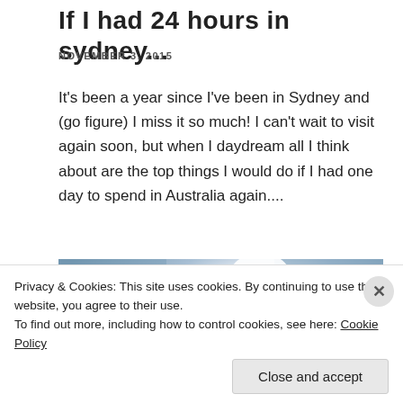If I had 24 hours in sydney...
NOVEMBER 3, 2015
It's been a year since I've been in Sydney and (go figure) I miss it so much! I can't wait to visit again soon, but when I daydream all I think about are the top things I would do if I had one day to spend in Australia again....
[Figure (photo): Bright sky with sun and clouds over a dark landscape silhouette]
Privacy & Cookies: This site uses cookies. By continuing to use this website, you agree to their use. To find out more, including how to control cookies, see here: Cookie Policy
Close and accept